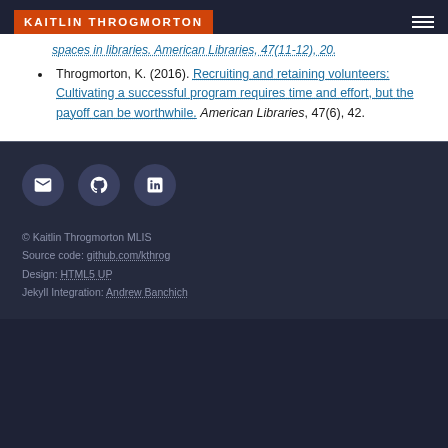KAITLIN THROGMORTON
spaces in libraries. American Libraries, 47(11-12), 20.
Throgmorton, K. (2016). Recruiting and retaining volunteers: Cultivating a successful program requires time and effort, but the payoff can be worthwhile. American Libraries, 47(6), 42.
© Kaitlin Throgmorton MLIS
Source code: github.com/kthrog
Design: HTML5 UP
Jekyll Integration: Andrew Banchich